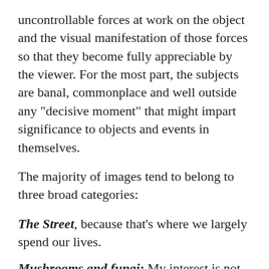uncontrollable forces at work on the object and the visual manifestation of those forces so that they become fully appreciable by the viewer. For the most part, the subjects are banal, commonplace and well outside any "decisive moment" that might impart significance to objects and events in themselves.
The majority of images tend to belong to three broad categories:
The Street, because that's where we largely spend our lives.
Mushrooms and fungi: My interest is not in the mushrooms themselves, but in the unpredictability of their appearance within the complex random environments in which they grow. The mushroom itself is used as a centering mechanism for the composition, so as to constrain taste and personal volition in the exploration of randomness within diffuse visual fields. This is largely imagery without an explicit subject; in many cases, the mushroom itself – the ostensible subject – is barely visible. This